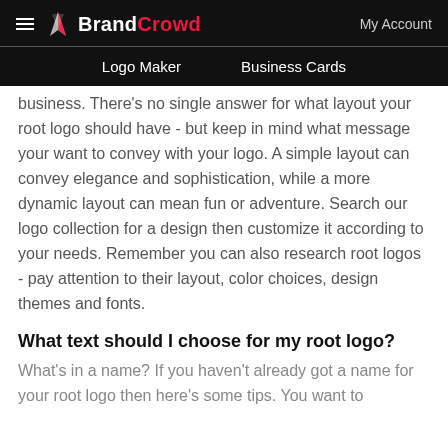BrandCrowd — Logo Maker | Business Cards | My Account
business. There's no single answer for what layout your root logo should have - but keep in mind what message your want to convey with your logo. A simple layout can convey elegance and sophistication, while a more dynamic layout can mean fun or adventure. Search our logo collection for a design then customize it according to your needs. Remember you can also research root logos - pay attention to their layout, color choices, design themes and fonts.
What text should I choose for my root logo?
What's in a name? If you haven't already got a name for your root logo then here's some tips. You want to